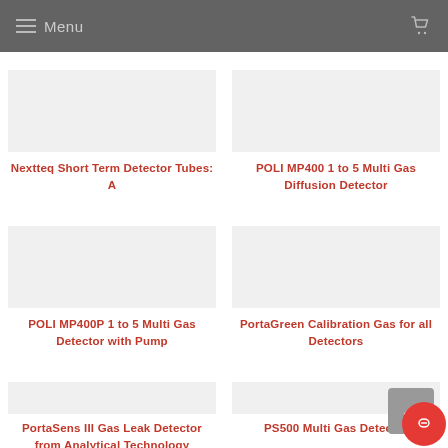Menu
Nextteq Short Term Detector Tubes: A
POLI MP400 1 to 5 Multi Gas Diffusion Detector
POLI MP400P 1 to 5 Multi Gas Detector with Pump
PortaGreen Calibration Gas for all Detectors
PortaSens III Gas Leak Detector from Analytical Technology
PS500 Multi Gas Detector